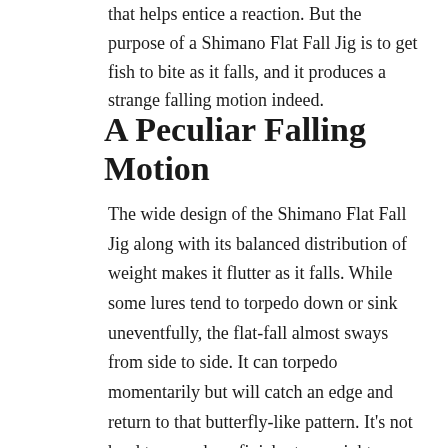that helps entice a reaction. But the purpose of a Shimano Flat Fall Jig is to get fish to bite as it falls, and it produces a strange falling motion indeed.
A Peculiar Falling Motion
The wide design of the Shimano Flat Fall Jig along with its balanced distribution of weight makes it flutter as it falls. While some lures tend to torpedo down or sink uneventfully, the flat-fall almost sways from side to side. It can torpedo momentarily but will catch an edge and return to that butterfly-like pattern. It’s not hard to see why a finicky tuna might decide to try to make a meal out of one.